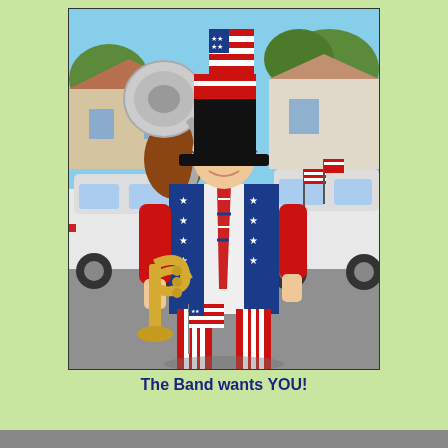[Figure (photo): A person dressed in a patriotic Uncle Sam costume with red jacket, red-white-and-blue striped pants, a top hat with American flag design, and sunglasses, holding a trumpet/flugelhorn and a small American flag, standing in a street parade setting with a sousaphone player behind them and cars in the background.]
The Band wants YOU!